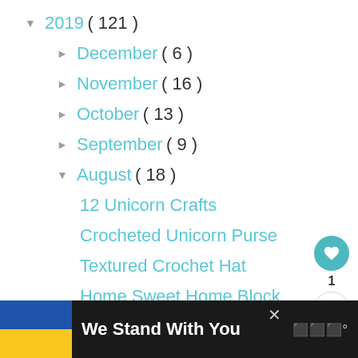▼ 2019 ( 121 )
► December ( 6 )
► November ( 16 )
► October ( 13 )
► September ( 9 )
▼ August ( 18 )
12 Unicorn Crafts
Crocheted Unicorn Purse
Textured Crochet Hat
Home Sweet Home Block
5 Mermaid Crafts
We Stand With You